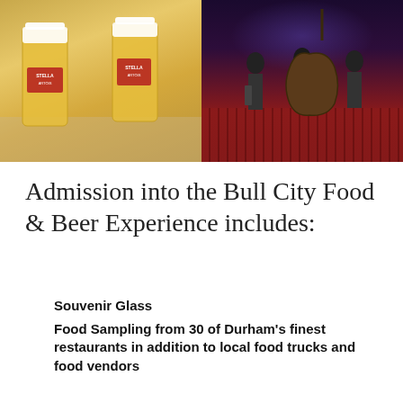[Figure (photo): Two-panel image: left panel shows three Stella Artois beer glasses on a table; right panel shows three musicians performing on stage with a bass instrument in a concert venue with red seats.]
Admission into the Bull City Food & Beer Experience includes:
Souvenir Glass
Food Sampling from 30 of Durham's finest restaurants in addition to local food trucks and food vendors
Beer Sampling from local and national breweries
A limited number of VIP Experience Ticket Holders will enjoy all elements of regular admission PLUS 30-minute early event access, a private entrance and restrooms,